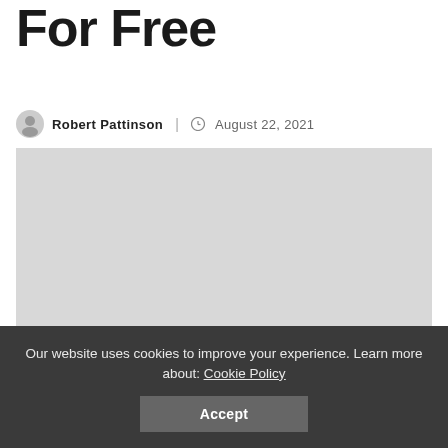For Free
Robert Pattinson | August 22, 2021
[Figure (photo): A large light gray placeholder image block]
Our website uses cookies to improve your experience. Learn more about: Cookie Policy
Accept